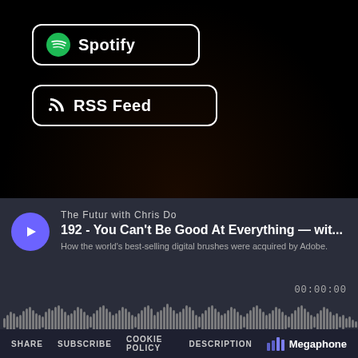[Figure (logo): Spotify button with green Spotify logo and white border on black background]
[Figure (logo): RSS Feed button with RSS icon and white border on black background]
[Figure (screenshot): Podcast player widget showing The Futur with Chris Do, episode 192 - You Can't Be Good At Everything, waveform audio visualizer, timestamp 00:00:00, and footer with SHARE SUBSCRIBE COOKIE POLICY DESCRIPTION and Megaphone logo]
The Futur with Chris Do
192 - You Can't Be Good At Everything — wit...
How the world's best-selling digital brushes were acquired by Adobe.
00:00:00
SHARE   SUBSCRIBE   COOKIE POLICY   DESCRIPTION   Megaphone